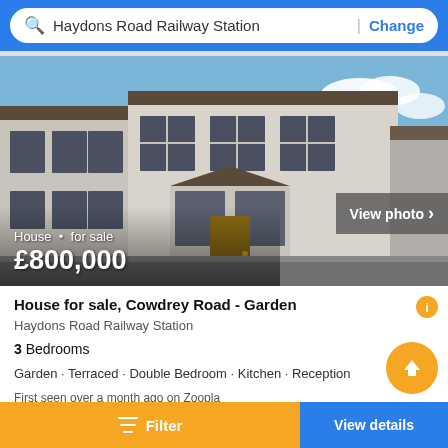Haydons Road Railway Station | Change
[Figure (photo): Exterior photo of a white Victorian terraced house for sale on Cowdrey Road, with brown roof tiles and a wooden front door, blue sky in background.]
House · for sale
£800,000
House for sale, Cowdrey Road - Garden
Haydons Road Railway Station
3 Bedrooms
Garden · Terraced · Double Bedroom · Kitchen · Reception
First seen over a month ago on Zoopla
Filter | View details